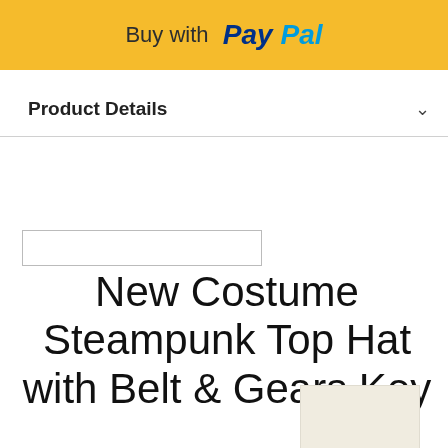[Figure (logo): PayPal Buy Now button with yellow background, 'Buy with PayPal' text where Pay is in dark blue and Pal is in light blue, italic bold font]
Product Details
New Costume Steampunk Top Hat with Belt & Gears Key
[Figure (other): Small beige/cream colored swatch square]